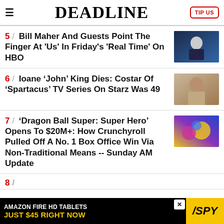DEADLINE
5 / Bill Maher And Guests Point The Finger At 'Us' In Friday's 'Real Time' On HBO
6 / Ioane 'John' King Dies: Costar Of 'Spartacus' TV Series On Starz Was 49
7 / 'Dragon Ball Super: Super Hero' Opens To $20M+: How Crunchyroll Pulled Off A No. 1 Box Office Win Via Non-Traditional Means -- Sunday AM Update
AMAZON FIRE HD TABLETS JUST $45 RIGHT NOW